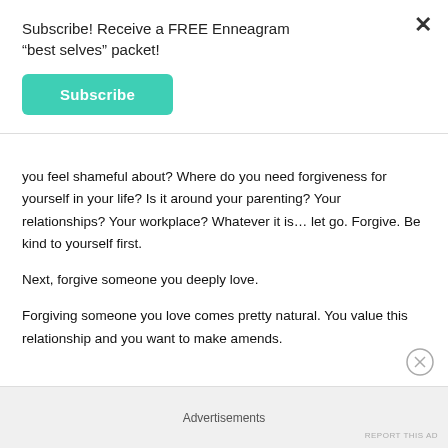Subscribe! Receive a FREE Enneagram “best selves” packet!
Subscribe
you feel shameful about? Where do you need forgiveness for yourself in your life? Is it around your parenting? Your relationships? Your workplace? Whatever it is… let go. Forgive. Be kind to yourself first.
Next, forgive someone you deeply love.
Forgiving someone you love comes pretty natural. You value this relationship and you want to make amends.
Advertisements